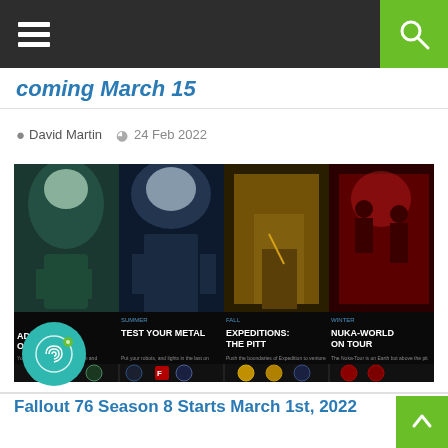[hamburger menu] [search icon]
Coming March 15
David Martin  24 Feb 2022
[Figure (screenshot): Fallout 76 Season content image showing four panels: Invaders from Beyond, Test Your Metal, Expeditions: The Pitt, Nuka-World on Tour, with icons and descriptions on a black background]
Fallout 76 Season 8 Starts March 1st, 2022